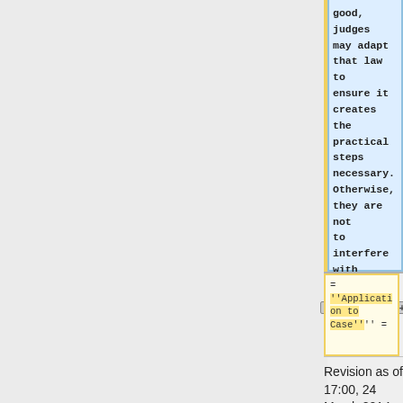good, judges may adapt that law to ensure it creates the practical steps necessary. Otherwise, they are not to interfere with written law.
= ''Application to Case'' =
= ''Application to Case'' =
Revision as of 17:00, 24 March 2014